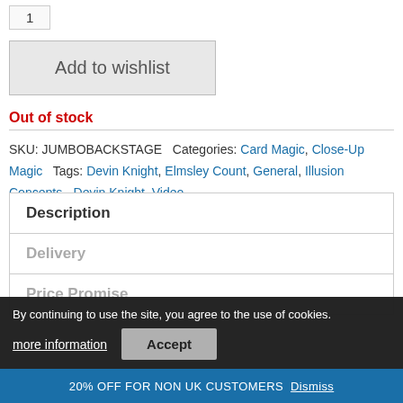1
Add to wishlist
Out of stock
SKU: JUMBOBACKSTAGE  Categories: Card Magic, Close-Up Magic  Tags: Devin Knight, Elmsley Count, General, Illusion Concepts - Devin Knight, Video
Description
Delivery
Price Promise
By continuing to use the site, you agree to the use of cookies.
more information
Accept
20% OFF FOR NON UK CUSTOMERS  Dismiss